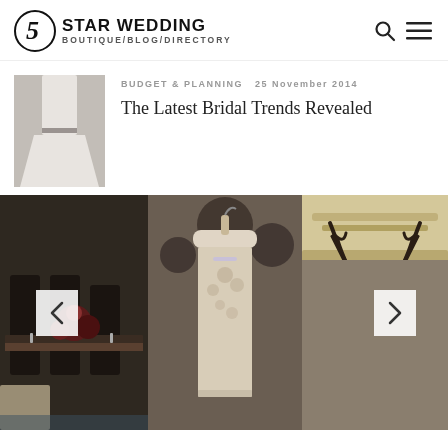5 STAR WEDDING BOUTIQUE/BLOG/DIRECTORY
[Figure (photo): Thumbnail photo of a bride in a white dress]
BUDGET & PLANNING  25 November 2014
The Latest Bridal Trends Revealed
[Figure (photo): Three-panel photo slideshow: left panel shows wedding reception table setting with dark chairs and floral centerpiece; center panel shows a lace bridal gown hanging on a decorative hanger; right panel shows a mounted stag/deer head on an ornate wall. Navigation arrows on left and right sides.]